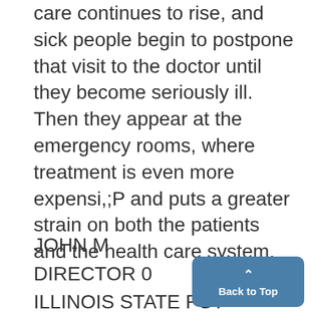care continues to rise, and sick people begin to postpone that visit to the doctor until they become seriously ill. Then they appear at the emergency rooms, where treatment is even more expensi,;P and puts a greater strain on both the patients and the health care system.
JOHN M
DIRECTOR 0
ILLINOIS STATE PSY
CHICAGO